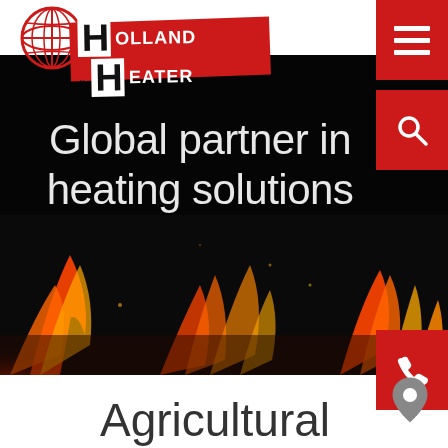[Figure (logo): Holland Heater logo: globe icon on left, bold H letters in white boxes on red angled rectangle background, HOLLAND and EATER text in white on red]
[Figure (photo): Dark background with bright orange and red fire flames along the bottom, creating a dramatic hero banner image]
Global partner in heating solutions
Agricultural